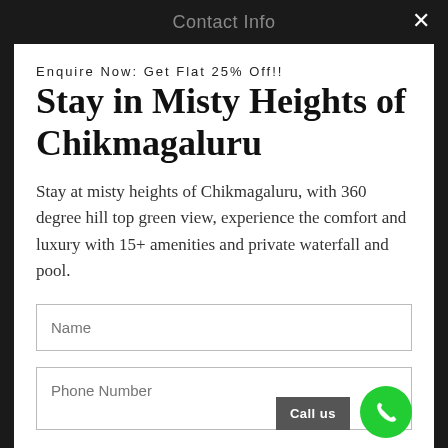Contact Info
Enquire Now: Get Flat 25% Off!!
Stay in Misty Heights of Chikmagaluru
Stay at misty heights of Chikmagaluru, with 360 degree hill top green view, experience the comfort and luxury with 15+ amenities and private waterfall and pool.
Name
Phone Number